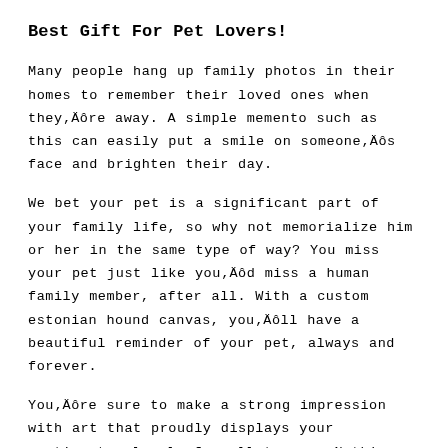Best Gift For Pet Lovers!
Many people hang up family photos in their homes to remember their loved ones when theyÄôre away. A simple memento such as this can easily put a smile on someoneÄôs face and brighten their day.
We bet your pet is a significant part of your family life, so why not memorialize him or her in the same type of way? You miss your pet just like youÄôd miss a human family member, after all. With a custom estonian hound canvas, youÄôll have a beautiful reminder of your pet, always and forever.
YouÄôre sure to make a strong impression with art that proudly displays your sentiments clearly for all to see. Nothing brings a smile to a child's face like